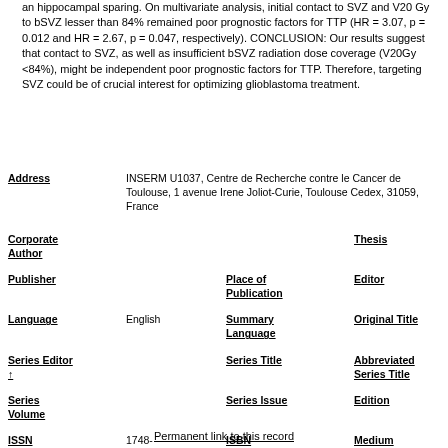an hippocampal sparing. On multivariate analysis, initial contact to SVZ and V20 Gy to bSVZ lesser than 84% remained poor prognostic factors for TTP (HR = 3.07, p = 0.012 and HR = 2.67, p = 0.047, respectively). CONCLUSION: Our results suggest that contact to SVZ, as well as insufficient bSVZ radiation dose coverage (V20Gy <84%), might be independent poor prognostic factors for TTP. Therefore, targeting SVZ could be of crucial interest for optimizing glioblastoma treatment.
| Field | Value | Field | Value |
| --- | --- | --- | --- |
| Address | INSERM U1037, Centre de Recherche contre le Cancer de Toulouse, 1 avenue Irene Joliot-Curie, Toulouse Cedex, 31059, France |  |  |
| Corporate Author |  | Thesis |  |
| Publisher |  | Place of Publication | Editor |
| Language | English | Summary Language | Original Title |
| Series Editor ↑ |  | Series Title | Abbreviated Series Title |
| Series Volume |  | Series Issue | Edition |
| ISSN | 1748-717X | ISBN | Medium |
| Area |  | Expedition | Conference |
| Notes | PMID:28424082 | Approved | no |
| Call Number | ref @ user @ | Serial | 96593 |
Permanent link to this record